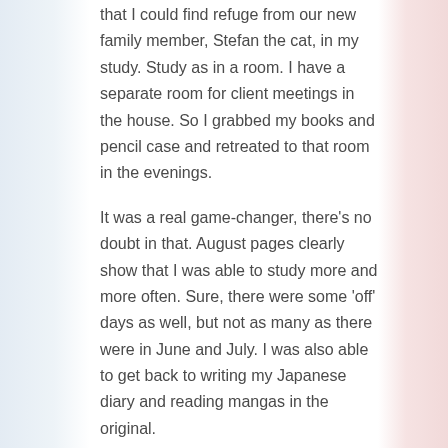that I could find refuge from our new family member, Stefan the cat, in my study. Study as in a room. I have a separate room for client meetings in the house. So I grabbed my books and pencil case and retreated to that room in the evenings.
It was a real game-changer, there's no doubt in that. August pages clearly show that I was able to study more and more often. Sure, there were some 'off' days as well, but not as many as there were in June and July. I was also able to get back to writing my Japanese diary and reading mangas in the original.
Speaking of manga, that month I discovered a little gem on Kindle – a manga titled Hananoi-kun to Koi no Yamai (花野井くんと恋の病). It's a shoujo manga (i.e. manga dedicated to girls, mostly covering typical teenage life and its problems, first love, first kiss etc.) about a plain girl who